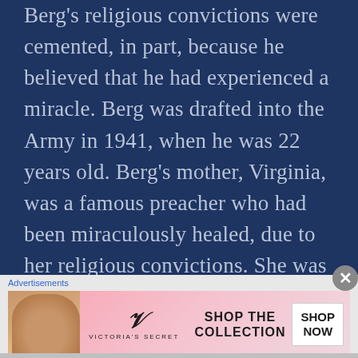Berg's religious convictions were cemented, in part, because he believed that he had experienced a miracle. Berg was drafted into the Army in 1941, when he was 22 years old. Berg's mother, Virginia, was a famous preacher who had been miraculously healed, due to her religious convictions. She was a very charismatic traveling evangelist who held tent revivals. Virginia had three children, but only her son, David, was interested in pursuing a life in the ministry. She took him with her on her travels as
Advertisements
[Figure (photo): Victoria's Secret advertisement banner with a woman's photo on left, VS logo in center, 'SHOP THE COLLECTION' text, and a 'SHOP NOW' button on right, pink gradient background]